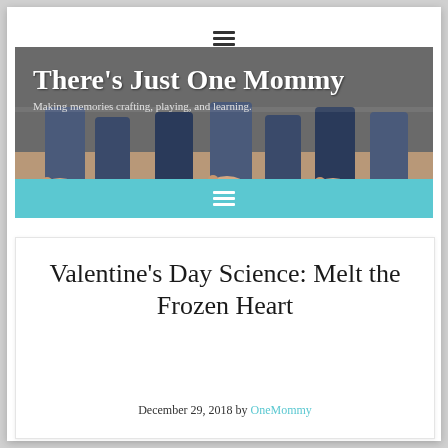≡ (hamburger menu icon)
[Figure (photo): Blog header banner for 'There's Just One Mommy' showing children's bare feet at the bottom, with blog title and subtitle overlay. Title: There's Just One Mommy. Subtitle: Making memories crafting, playing, and learning.]
≡ (hamburger menu icon on teal navigation bar)
Valentine's Day Science: Melt the Frozen Heart
December 29, 2018 by OneMommy